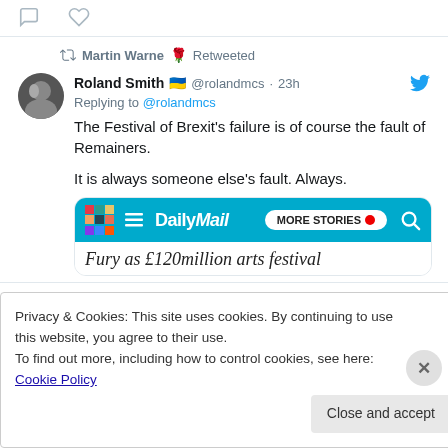[Figure (screenshot): Twitter/social media screenshot showing a retweet by Martin Warne of Roland Smith's tweet about the Festival of Brexit, with a linked Daily Mail article preview]
Privacy & Cookies: This site uses cookies. By continuing to use this website, you agree to their use.
To find out more, including how to control cookies, see here: Cookie Policy
Close and accept